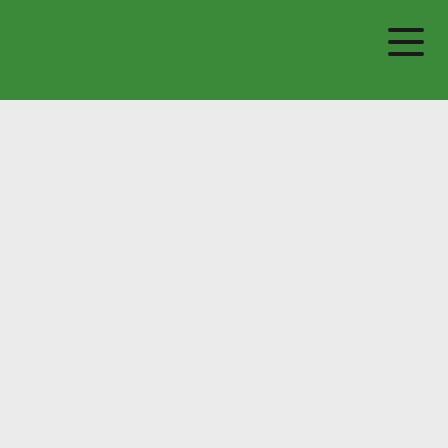| Membership to | From | To |
| --- | --- | --- |
|  |  |  |
| Membership to | From | To |
|  | 2013 | To date |
|  | 2013 | To date |
| Membership to | From | To |
|  |  |  |